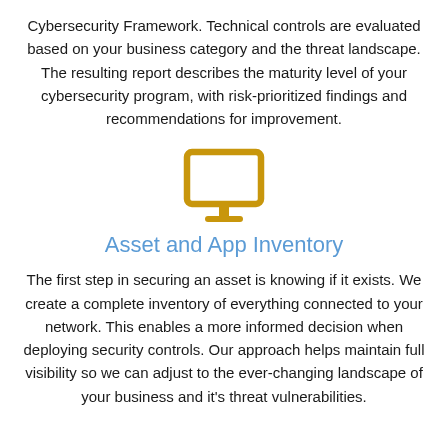Cybersecurity Framework. Technical controls are evaluated based on your business category and the threat landscape. The resulting report describes the maturity level of your cybersecurity program, with risk-prioritized findings and recommendations for improvement.
[Figure (illustration): Gold/yellow monitor icon representing Asset and App Inventory]
Asset and App Inventory
The first step in securing an asset is knowing if it exists. We create a complete inventory of everything connected to your network. This enables a more informed decision when deploying security controls. Our approach helps maintain full visibility so we can adjust to the ever-changing landscape of your business and it's threat vulnerabilities.